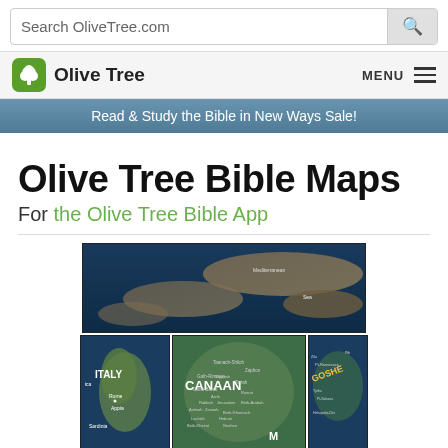Search OliveTree.com
Olive Tree  MENU
Read & Study the Bible in New Ways Sale!
Olive Tree Bible Maps
For the Olive Tree Bible App
[Figure (map): Composite of three Bible maps: a top map showing the Mediterranean/Middle East region, bottom-left showing Italy with Rome and Appia labeled, bottom-center showing Canaan with place names, bottom-right showing Goshen region of Egypt.]